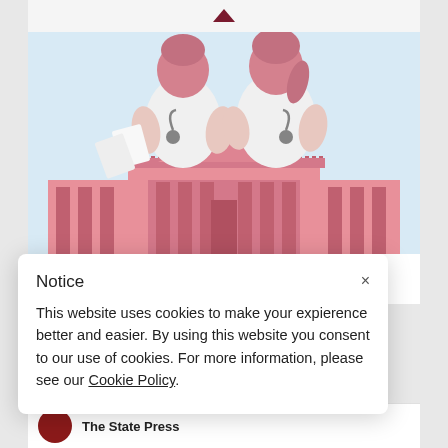[Figure (illustration): Illustration of two medical students or doctors in white coats with stethoscopes, standing back-to-back in front of a pink building resembling a university or government building, on a light blue background.]
ASU State Press
Notice
This website uses cookies to make your expierence better and easier. By using this website you consent to our use of cookies. For more information, please see our Cookie Policy.
The State Press